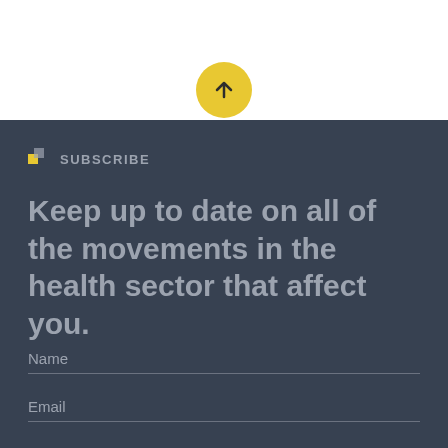[Figure (illustration): Yellow circular button with upward arrow icon at top center of page]
SUBSCRIBE
Keep up to date on all of the movements in the health sector that affect you.
Name
Email